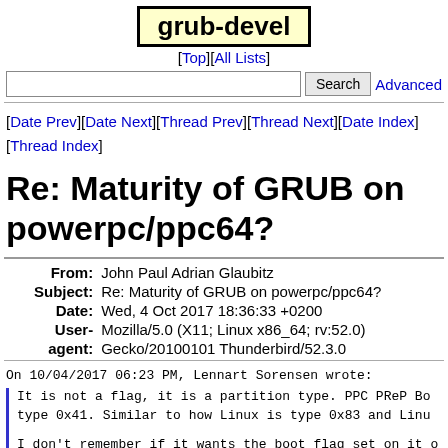grub-devel
[Top][All Lists]
Search  Advanced
[Date Prev][Date Next][Thread Prev][Thread Next][Date Index][Thread Index]
Re: Maturity of GRUB on powerpc/ppc64?
| Field | Value |
| --- | --- |
| From: | John Paul Adrian Glaubitz |
| Subject: | Re: Maturity of GRUB on powerpc/ppc64? |
| Date: | Wed, 4 Oct 2017 18:36:33 +0200 |
| User-agent: | Mozilla/5.0 (X11; Linux x86_64; rv:52.0) Gecko/20100101 Thunderbird/52.3.0 |
On 10/04/2017 06:23 PM, Lennart Sorensen wrote:
  It is not a flag, it is a partition type.  PPC PReP Boot is partition type 0x41.  Similar to how Linux is type 0x83 and Linu...
  I don't remember if it wants the boot flag set on it o...